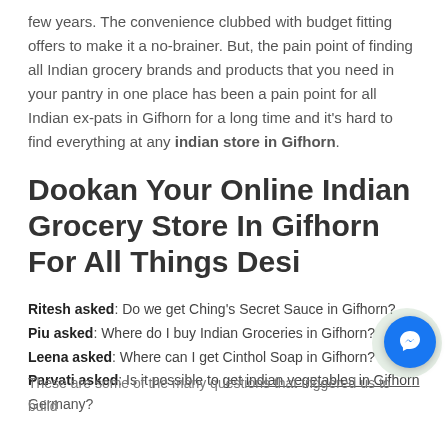few years. The convenience clubbed with budget fitting offers to make it a no-brainer. But, the pain point of finding all Indian grocery brands and products that you need in your pantry in one place has been a pain point for all Indian ex-pats in Gifhorn for a long time and it's hard to find everything at any indian store in Gifhorn.
Dookan Your Online Indian Grocery Store In Gifhorn For All Things Desi
Ritesh asked: Do we get Ching's Secret Sauce in Gifhorn?
Piu asked: Where do I buy Indian Groceries in Gifhorn?
Leena asked: Where can I get Cinthol Soap in Gifhorn?
Parvati asked: Is it possible to get indian vegetables in Gifhorn Germany?
These are some of the many questions that triggered us to build